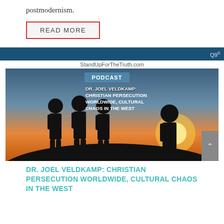postmodernism.
READ MORE
[Figure (screenshot): Podcast banner image for StandUpForTheTruth.com showing silhouettes of people against a sunset, with text overlay: PODCAST / DR. JOEL VELDKAMP: CHRISTIAN PERSECUTION WORLDWIDE, CULTURAL CHAOS IN THE WEST. Blue top bar with Q90 logo.]
DR. JOEL VELDKAMP: CHRISTIAN PERSECUTION WORLDWIDE, CULTURAL CHAOS IN THE WEST